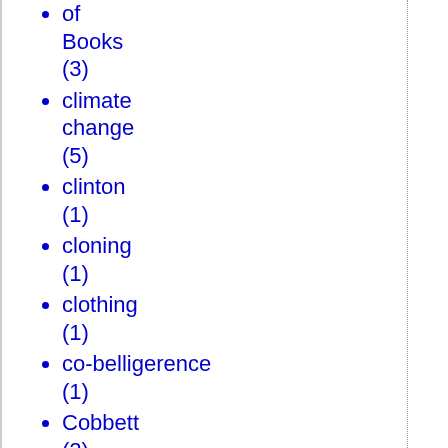of Books (3)
climate change (5)
clinton (1)
cloning (1)
clothing (1)
co-belligerence (1)
Cobbett (2)
coercion (2)
Coffee and Markets (1)
Cognitive Elite